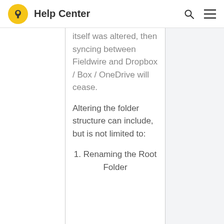Help Center
itself was altered, then syncing between Fieldwire and Dropbox / Box / OneDrive will cease.
Altering the folder structure can include, but is not limited to:
1. Renaming the Root Folder